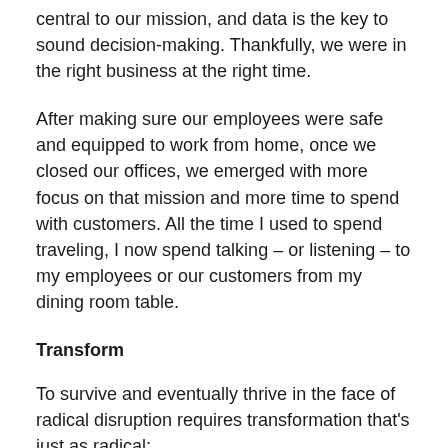central to our mission, and data is the key to sound decision-making. Thankfully, we were in the right business at the right time.
After making sure our employees were safe and equipped to work from home, once we closed our offices, we emerged with more focus on that mission and more time to spend with customers. All the time I used to spend traveling, I now spend talking – or listening – to my employees or our customers from my dining room table.
Transform
To survive and eventually thrive in the face of radical disruption requires transformation that's just as radical:
· Developing new business models, like breweries and distillers manufacturing hand sanitizer